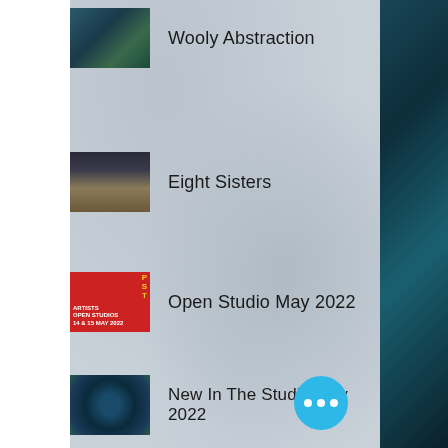Wooly Abstraction
Eight Sisters
Open Studio May 2022
New In The Studio May 2022